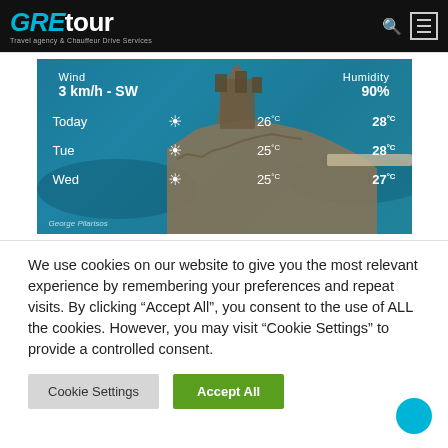GREtour Travel agency & Chauffeur Drive Services
[Figure (screenshot): Weather widget showing an aerial photo of a coastal fortress/rocky island. Wind: 3 km/h - SW, Humidity: 90%. Today: sun icon, 26°C / 28°C. Tue: sun icon, 25°C / 28°C. Wed: sun icon, 25°C / 27°C. Photo credit: George Pilarisos.]
We use cookies on our website to give you the most relevant experience by remembering your preferences and repeat visits. By clicking "Accept All", you consent to the use of ALL the cookies. However, you may visit "Cookie Settings" to provide a controlled consent.